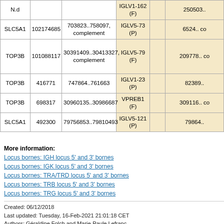| Gene | ID | Location | IMGT Gene |  | Location2 |
| --- | --- | --- | --- | --- | --- |
| N.d |  |  | IGLV1-162 (F) |  | 250503.. |
| SLC5A1 | 102174685 | 703823..758097, complement | IGLV5-73 (P) |  | 6524.. co |
| TOP3B | 101088117 | 30391409..30413327, complement | IGLV5-79 (F) |  | 209778.. co |
| TOP3B | 416771 | 747864..761663 | IGLV1-23 (P) |  | 82389.. |
| TOP3B | 698317 | 30960135..30986687 | VPREB1 (F) |  | 309116.. co |
| SLC5A1 | 492300 | 79756853..79810493 | IGLV5-121 (P) |  | 79864.. |
More information:
Locus bornes: IGH locus 5' and 3' bornes
Locus bornes: IGK locus 5' and 3' bornes
Locus bornes: TRA/TRD locus 5' and 3' bornes
Locus bornes: TRB locus 5' and 3' bornes
Locus bornes: TRG locus 5' and 3' bornes
Created: 06/12/2018
Last updated: Tuesday, 16-Feb-2021 21:01:18 CET
Authors: Géraldine Folch and Marie-Paule Lefranc